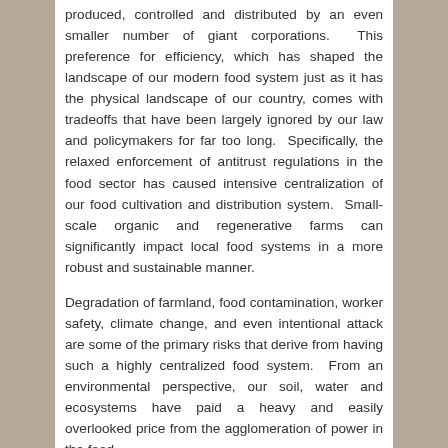produced, controlled and distributed by an even smaller number of giant corporations. This preference for efficiency, which has shaped the landscape of our modern food system just as it has the physical landscape of our country, comes with tradeoffs that have been largely ignored by our law and policymakers for far too long. Specifically, the relaxed enforcement of antitrust regulations in the food sector has caused intensive centralization of our food cultivation and distribution system. Small-scale organic and regenerative farms can significantly impact local food systems in a more robust and sustainable manner.
Degradation of farmland, food contamination, worker safety, climate change, and even intentional attack are some of the primary risks that derive from having such a highly centralized food system. From an environmental perspective, our soil, water and ecosystems have paid a heavy and easily overlooked price from the agglomeration of power in the food